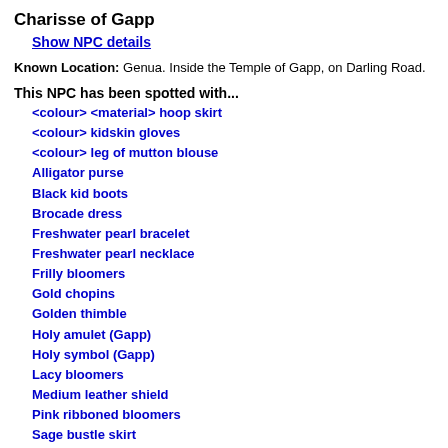Charisse of Gapp
Show NPC details
Known Location: Genua. Inside the Temple of Gapp, on Darling Road.
This NPC has been spotted with...
<colour> <material> hoop skirt
<colour> kidskin gloves
<colour> leg of mutton blouse
Alligator purse
Black kid boots
Brocade dress
Freshwater pearl bracelet
Freshwater pearl necklace
Frilly bloomers
Gold chopins
Golden thimble
Holy amulet (Gapp)
Holy symbol (Gapp)
Lacy bloomers
Medium leather shield
Pink ribboned bloomers
Sage bustle skirt
Small block of holy incense (Notes: Usually inside shoulder pouch)
Small shoulder pouch
Tasseled staff
White kid boots